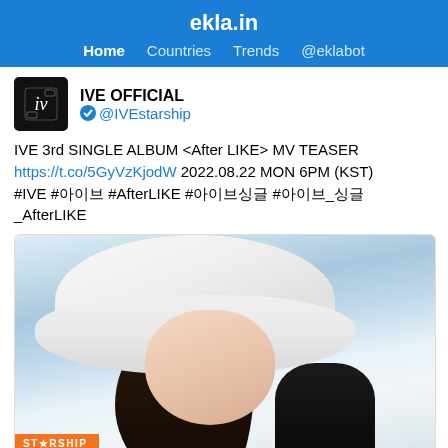ekla.in
Home  Countries  Trends  @eklabot
IVE OFFICIAL
@IVEstarship
IVE 3rd SINGLE ALBUM <After LIKE> MV TEASER https://t.co/5GyVzKjodW 2022.08.22 MON 6PM (KST) #IVE #아이브 #AfterLIKE #아이브_싱글_AfterLIKE
[Figure (photo): Promotional photo of a young woman wearing a large white fluffy hat, with a STARSHIP ENTERTAINMENT badge at bottom left]